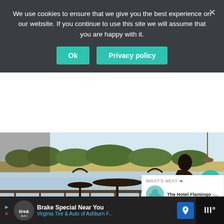We use cookies to ensure that we give you the best experience on our website. If you continue to use this site we will assume that you are happy with it.
Ok
Privacy policy
[Figure (photo): Terrace/balcony overlooking a river or lake, with bistro chairs and table, a woman silhouetted on the right side sitting on a swing. Trees and sandy bank visible across the water. Heart/like button (170 likes) and share button overlay the image.]
Tongabezi – a Luxurious Tree House Lodge in Zambi…
WHAT'S NEXT → The Hotel Flamingo -...
Brake Special Near You Virginia Tire & Auto of Ashburn F...